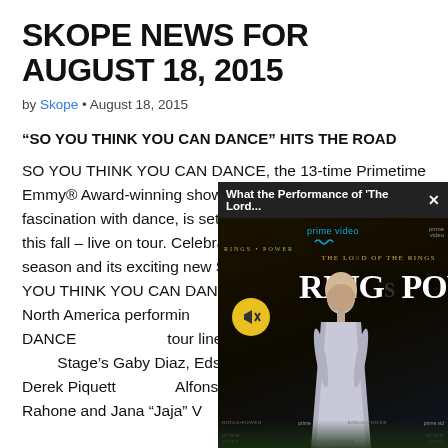SKOPE NEWS FOR AUGUST 18, 2015
by Skope • August 18, 2015
“SO YOU THINK YOU CAN DANCE” HITS THE ROAD
SO YOU THINK YOU CAN DANCE, the 13-time Primetime Emmy® Award-winning show that sparked America’s fascination with dance, is set to captivate audiences again this fall – live on tour. Celebrating its momentous 12th season and its exciting new Stage v. Street format, SO YOU THINK YOU CAN DANCE’s Top 10 fin... North America performing... THINK YOU CAN DANCE... tour lineup includes the f... Stage’s Gaby Diaz, Edson... Payne and Derek Piquett... Alfonso, Eddie “Neptune... Rahone and Jana “Jaja” V...
[Figure (screenshot): Video popup overlay showing Amazon Prime Video advertisement for 'The Lord of the Rings: The Rings of Power' with a woman in silver dress on red carpet, mute button visible, close button in top right corner.]